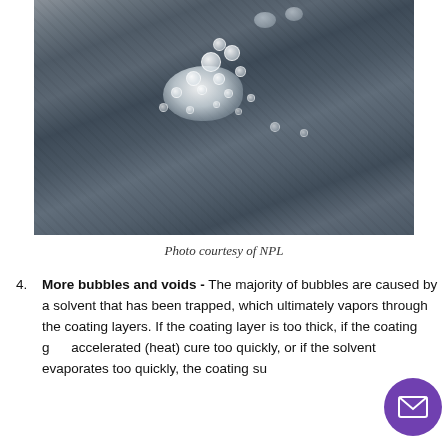[Figure (photo): Close-up photo of a dark coated surface with bubbles and voids visible, showing white/grey bubble clusters on a dark grey-blue background. Photo courtesy of NPL.]
Photo courtesy of NPL
More bubbles and voids - The majority of bubbles are caused by a solvent that has been trapped, which ultimately vapors through the coating layers. If the coating layer is too thick, if the coating gets accelerated (heat) cure too quickly, or if the solvent evaporates too quickly, the coating surface